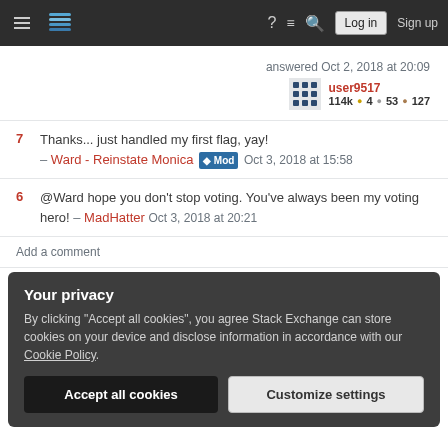Stack Exchange navigation bar with hamburger menu, logo, help, chat, search, Log in, Sign up
answered Oct 2, 2018 at 20:09 user9517 114k ● 4 ● 53 ● 127
7 Thanks... just handled my first flag, yay! – Ward - Reinstate Monica [Mod] Oct 3, 2018 at 15:58
6 @Ward hope you don't stop voting. You've always been my voting hero! – MadHatter Oct 3, 2018 at 20:21
Add a comment
Your privacy
By clicking "Accept all cookies", you agree Stack Exchange can store cookies on your device and disclose information in accordance with our Cookie Policy.
Accept all cookies   Customize settings